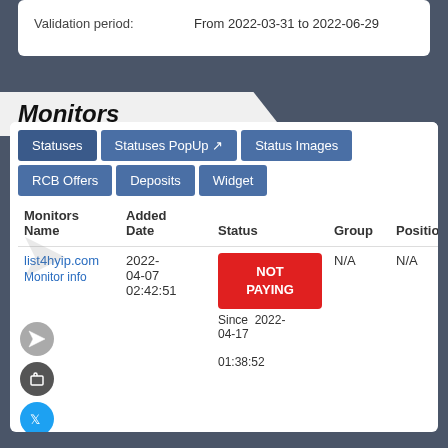Validation period: From 2022-03-31 to 2022-06-29
Monitors
| Monitors Name | Added Date | Status | Group | Position | Deposits | Withdraw |
| --- | --- | --- | --- | --- | --- | --- |
| list4hyip.com Monitor info | 2022-04-07 02:42:51 | NOT PAYING Since 2022-04-17 01:38:52 | N/A | N/A | N/A | N/A N/A |